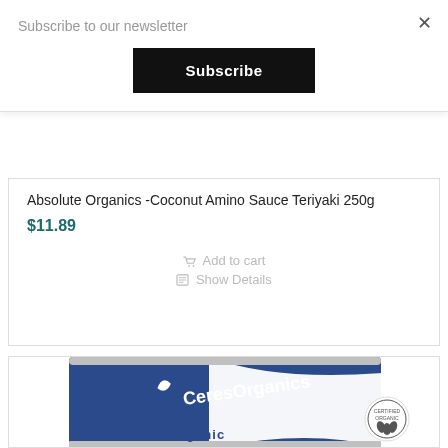Subscribe to our newsletter
Subscribe
×
Absolute Organics -Coconut Amino Sauce Teriyaki 250g
$11.89
Add to cart
Show Details
[Figure (photo): Ceres Organics product can with blue and white label showing 'CeresOrganics' branding and 'Organic' text, with a certified organic seal]